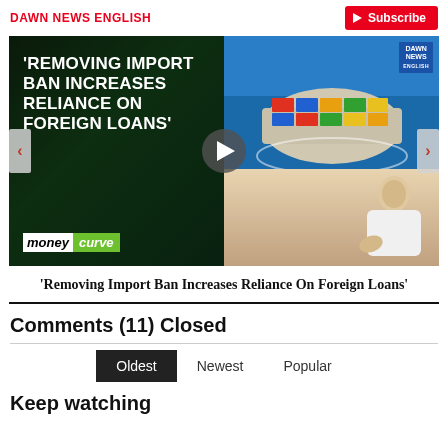DAWN NEWS ENGLISH
[Figure (screenshot): Video thumbnail showing text 'Removing Import Ban Increases Reliance On Foreign Loans' on dark green background with ship carrying containers and a person, with moneycurve logo and play button overlay]
'Removing Import Ban Increases Reliance On Foreign Loans'
Comments (11) Closed
Oldest  Newest  Popular
Keep watching